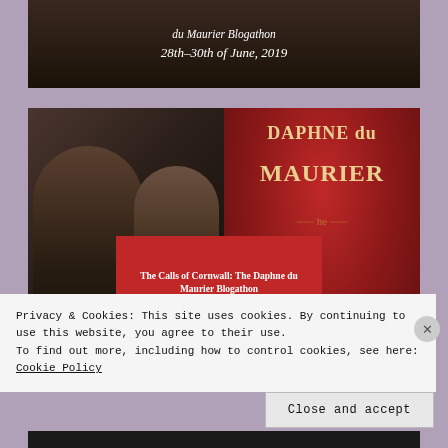[Figure (screenshot): Top banner image for 'The Calls of Cornwall: The Daphne du Maurier Blogathon' with text '28th–30th of June, 2019' on dark background]
[Figure (photo): Composite image: left half shows two people (man and woman) in dark cinematic style; right half shows red book cover with 'DAPHNE du MAURIER' in gold text. A red overlay box in the center reads 'The Calls of Cornwall: The Daphne du Maurier Blogathon / 28th-30th of June 2019']
Privacy & Cookies: This site uses cookies. By continuing to use this website, you agree to their use.
To find out more, including how to control cookies, see here: Cookie Policy
Close and accept